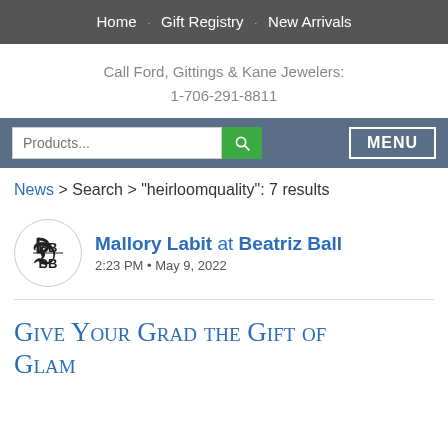Home · Gift Registry · New Arrivals
Call Ford, Gittings & Kane Jewelers:
1-706-291-8811
Products... [search] MENU
News > Search > "heirloomquality": 7 results
Mallory Labit at Beatriz Ball
2:23 PM • May 9, 2022
Give Your Grad the Gift of Glam